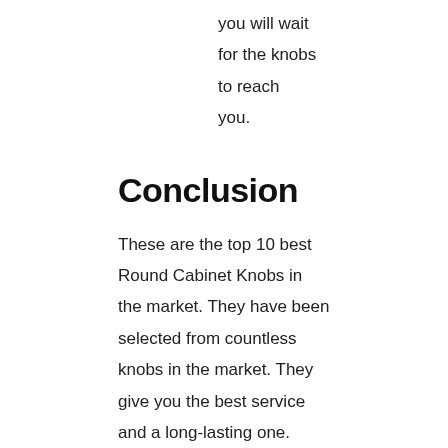you will wait for the knobs to reach you.
Conclusion
These are the top 10 best Round Cabinet Knobs in the market. They have been selected from countless knobs in the market. They give you the best service and a long-lasting one. They are all easy to use and also easy to install. They have the best finish in such a way they do not rust or corrode for any reason whatsoever. They are also heavy-duty and add a great look in